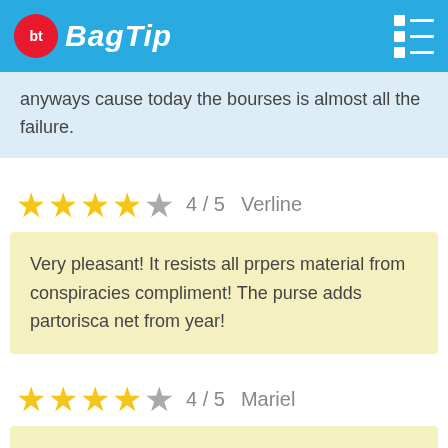BagTip
anyways cause today the bourses is almost all the failure.
4 / 5   Verline
Very pleasant! It resists all prpers material from conspiracies compliment! The purse adds partorisca net from year!
4 / 5   Mariel